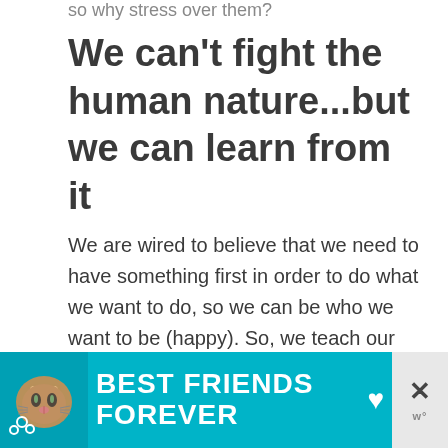so why stress over them?
We can't fight the human nature...but we can learn from it
We are wired to believe that we need to have something first in order to do what we want to do, so we can be who we want to be (happy). So, we teach our brains that we must attain retirement before we can enjoy our lives. It's only
[Figure (infographic): Advertisement banner with a cat photo on the left, text 'BEST FRIENDS FOREVER' in white bold letters on a teal background, and a close button with X on the right side.]